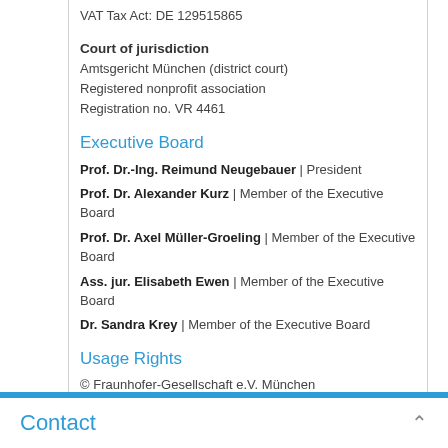VAT Tax Act: DE 129515865
Court of jurisdiction
Amtsgericht  München (district court)
Registered nonprofit association
Registration no. VR 4461
Executive Board
Prof. Dr.-Ing. Reimund Neugebauer | President
Prof. Dr. Alexander Kurz | Member of the Executive Board
Prof. Dr. Axel Müller-Groeling | Member of the Executive Board
Ass. jur. Elisabeth Ewen | Member of the Executive Board
Dr. Sandra Krey | Member of the Executive Board
Usage Rights
© Fraunhofer-Gesellschaft e.V. München
Contact